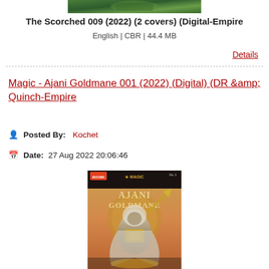[Figure (photo): Top portion of a comic book cover, partially cropped]
The Scorched 009 (2022) (2 covers) (Digital-Empire
English | CBR | 44.4 MB
Details
Magic - Ajani Goldmane 001 (2022) (Digital) (DR &amp;amp; Quinch-Empire
Posted By: Kochet
Date: 27 Aug 2022 20:06:46
[Figure (photo): Comic book cover for Magic: Ajani Goldmane #1 from BOOM! Studios, showing a lion-like humanoid warrior in golden armor]